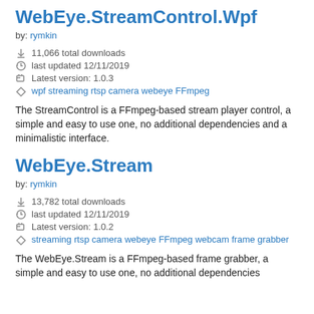WebEye.StreamControl.Wpf
by: rymkin
↓ 11,066 total downloads
last updated 12/11/2019
Latest version: 1.0.3
wpf streaming rtsp camera webeye FFmpeg
The StreamControl is a FFmpeg-based stream player control, a simple and easy to use one, no additional dependencies and a minimalistic interface.
WebEye.Stream
by: rymkin
↓ 13,782 total downloads
last updated 12/11/2019
Latest version: 1.0.2
streaming rtsp camera webeye FFmpeg webcam frame grabber
The WebEye.Stream is a FFmpeg-based frame grabber, a simple and easy to use one, no additional dependencies